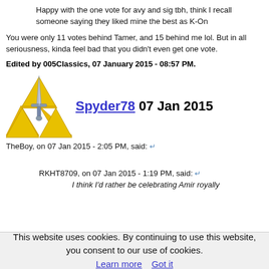Happy with the one vote for avy and sig tbh, think I recall someone saying they liked mine the best as K-On
You were only 11 votes behind Tamer, and 15 behind me lol. But in all seriousness, kinda feel bad that you didn't even get one vote.
Edited by 005Classics, 07 January 2015 - 08:57 PM.
[Figure (illustration): Zelda Triforce logo with a sword through the middle, golden triangles]
Spyder78 07 Jan 2015
TheBoy, on 07 Jan 2015 - 2:05 PM, said:
RKHT8709, on 07 Jan 2015 - 1:19 PM, said:
I think I'd rather be celebrating Amir royally
This website uses cookies. By continuing to use this website, you consent to our use of cookies. Learn more  Got it